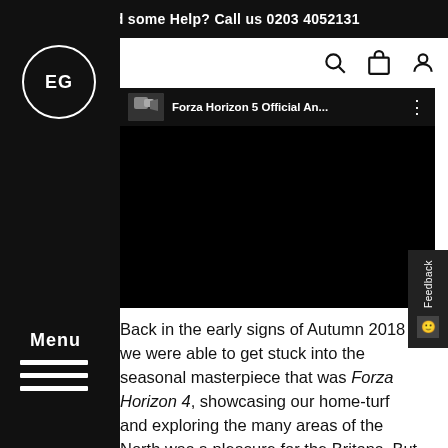Need some Help? Call us 0203 4052131
[Figure (logo): EG circular logo in white on black sidebar]
Menu
[Figure (screenshot): Forza Horizon 5 Official An... video embed with black preview area and three-dot menu]
Feedback
Back in the early signs of Autumn 2018 we were able to get stuck into the seasonal masterpiece that was Forza Horizon 4, showcasing our home-turf and exploring the many areas of the North was a pleasure for the Britons. But only year or so after the release of FH4 the world was